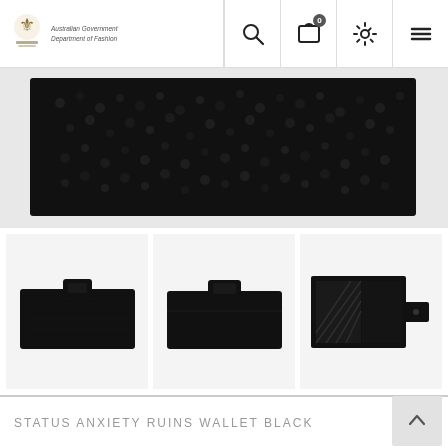Australian Government Department of Fashion - navigation bar with search, cart (0), settings, and menu icons
[Figure (photo): Close-up of black pebbled leather wallet surface, cropped showing top portion of wallet]
[Figure (photo): Three thumbnail images of Status Anxiety Ruins Wallet Black: front view with clasp, front view closed, and back/side view showing card slots]
STATUS ANXIETY RUINS WALLET BLACK
$99.95
or make 4 interest-free payments of $24.99 AUD